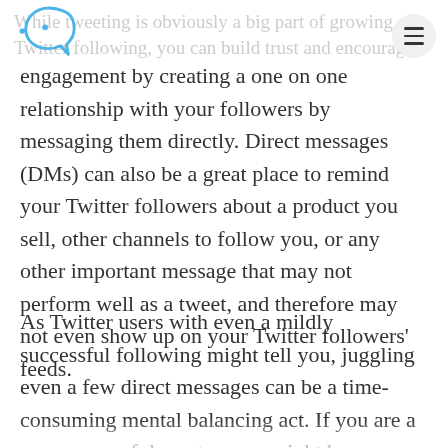While tweeting is obviously a big part of growing your Twitter following, you can build trust and encourage
engagement by creating a one on one relationship with your followers by messaging them directly. Direct messages (DMs) can also be a great place to remind your Twitter followers about a product you sell, other channels to follow you, or any other important message that may not perform well as a tweet, and therefore may not even show up on your Twitter followers' feeds.
As Twitter users with even a mildly successful following might tell you, juggling even a few direct messages can be a time-consuming mental balancing act. If you are a very successful creator, you might be